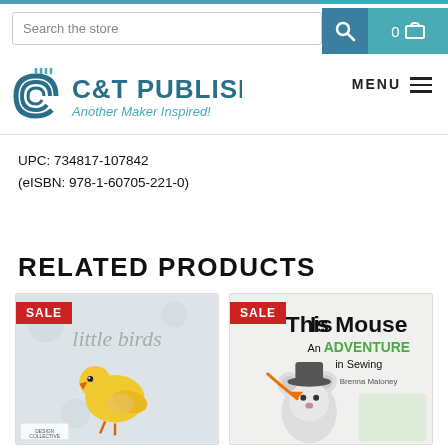[Figure (screenshot): C&T Publishing website header with search bar, logo, and navigation menu]
UPC: 734817-107842
(eISBN: 978-1-60705-221-0)
RELATED PRODUCTS
[Figure (screenshot): Product card for 'little birds' book with SALE badge]
[Figure (screenshot): Product card for 'This Is Mouse: An Adventure in Sewing' book with SALE badge]